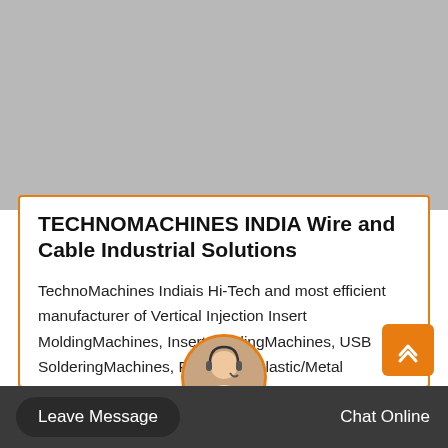[Figure (photo): Gray placeholder image area at the top of the page]
TECHNOMACHINES INDIA Wire and Cable Industrial Solutions
TechnoMachines Indiais Hi-Tech and most efficient manufacturer of Vertical Injection Insert MoldingMachines, Insert MoldingMachines, USB SolderingMachines, Fiber La… Plastic/Metal MarkingMachines, Wire Cutting…
Leave Message   Chat Online